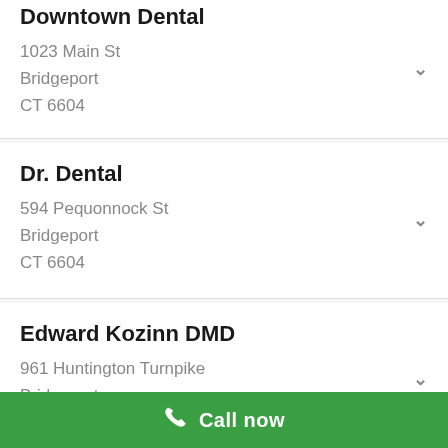Downtown Dental
1023 Main St
Bridgeport
CT 6604
Dr. Dental
594 Pequonnock St
Bridgeport
CT 6604
Edward Kozinn DMD
961 Huntington Turnpike
Bridgeport
CT 6610
Call now